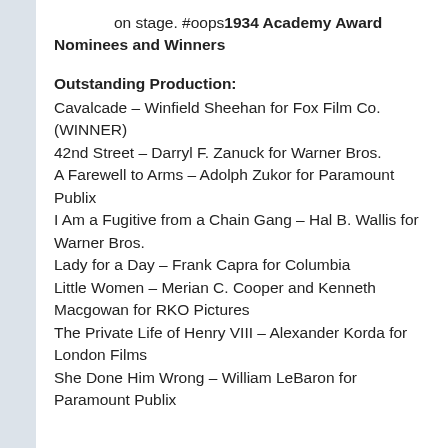on stage. #oops1934 Academy Award Nominees and Winners
Outstanding Production:
Cavalcade – Winfield Sheehan for Fox Film Co. (WINNER)
42nd Street – Darryl F. Zanuck for Warner Bros.
A Farewell to Arms – Adolph Zukor for Paramount Publix
I Am a Fugitive from a Chain Gang – Hal B. Wallis for Warner Bros.
Lady for a Day – Frank Capra for Columbia
Little Women – Merian C. Cooper and Kenneth Macgowan for RKO Pictures
The Private Life of Henry VIII – Alexander Korda for London Films
She Done Him Wrong – William LeBaron for Paramount Publix